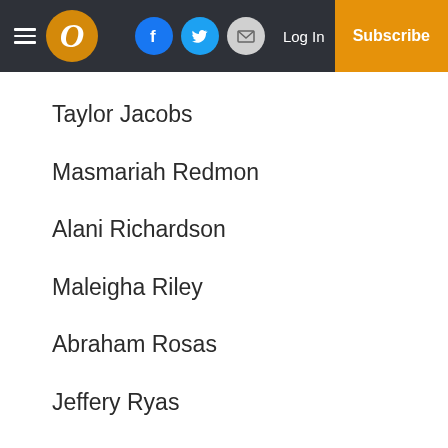Navigation bar with logo, social icons, Log In, Subscribe
Taylor Jacobs
Masmariah Redmon
Alani Richardson
Maleigha Riley
Abraham Rosas
Jeffery Ryas
Jonathan Stewart
Daniel Wilbur